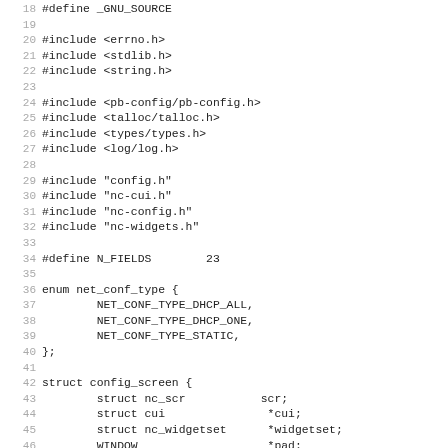Source code listing lines 18-50, C header includes and struct definitions
18: #define _GNU_SOURCE (partial, cut off)
19: (blank)
20: #include <errno.h>
21: #include <stdlib.h>
22: #include <string.h>
23: (blank)
24: #include <pb-config/pb-config.h>
25: #include <talloc/talloc.h>
26: #include <types/types.h>
27: #include <log/log.h>
28: (blank)
29: #include "config.h"
30: #include "nc-cui.h"
31: #include "nc-config.h"
32: #include "nc-widgets.h"
33: (blank)
34: #define N_FIELDS        23
35: (blank)
36: enum net_conf_type {
37:         NET_CONF_TYPE_DHCP_ALL,
38:         NET_CONF_TYPE_DHCP_ONE,
39:         NET_CONF_TYPE_STATIC,
40: };
41: (blank)
42: struct config_screen {
43:         struct nc_scr           scr;
44:         struct cui               *cui;
45:         struct nc_widgetset      *widgetset;
46:         WINDOW                   *pad;
47: (blank)
48:         bool                     exit;
49:         void                     (*on_exit)(struct cui *
50: (partial)